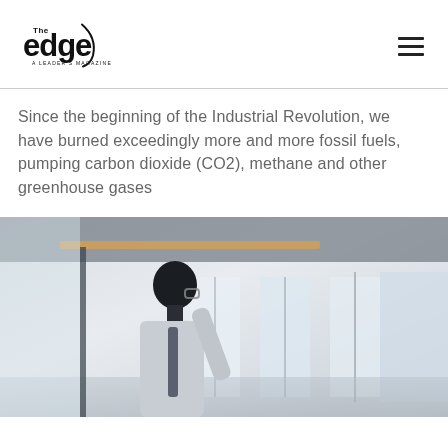[Figure (logo): The Edge - A Leader's Magazine logo]
Since the beginning of the Industrial Revolution, we have burned exceedingly more and more fossil fuels, pumping carbon dioxide (CO2), methane and other greenhouse gases
[Figure (photo): A person in business attire with glasses, viewed from the side, appearing to present or write, in a bright office environment with large windows]